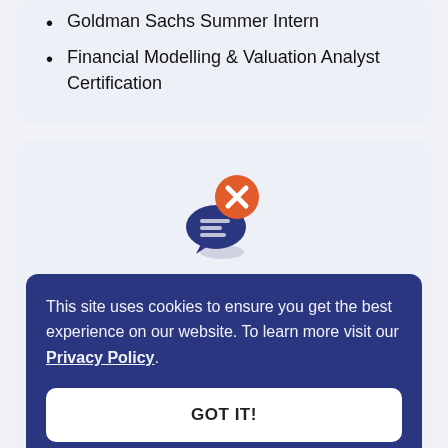Goldman Sachs Summer Intern
Financial Modelling & Valuation Analyst Certification
[Figure (illustration): Speech bubble icon with an orange circle containing a white X mark, overlapping a dark blue chat bubble with white lines, and a small grey oval shadow beneath.]
This site uses cookies to ensure you get the best experience on our website. To learn more visit our Privacy Policy.
GOT IT!